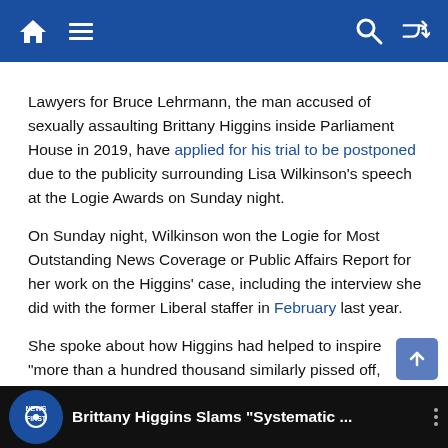Navigation bar with home, menu, search, and shuffle icons
Lawyers for Bruce Lehrmann, the man accused of sexually assaulting Brittany Higgins inside Parliament House in 2019, have applied for his trial to be postponed due to the publicity surrounding Lisa Wilkinson's speech at the Logie Awards on Sunday night.
On Sunday night, Wilkinson won the Logie for Most Outstanding News Coverage or Public Affairs Report for her work on the Higgins' case, including the interview she did with the former Liberal staffer in February last year.
She spoke about how Higgins had helped to inspire "more than a hundred thousand similarly pissed off, exhausted, fierce women."
[Figure (screenshot): Video thumbnail bar at the bottom showing News First logo and title: Brittany Higgins Slams "Systematic ..."]